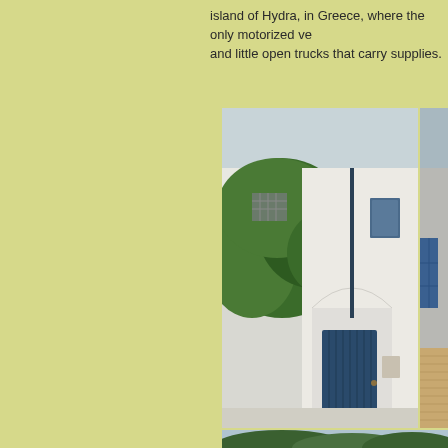Island of Hydra, in Greece, where the only motorized ve... and little open trucks that carry supplies.
[Figure (photo): White-walled Greek building with arched doorway, dark blue wooden gate, and lush green tree/shrub overhanging the wall. Mediterranean architectural style.]
[Figure (photo): Partial view of a blue-shuttered building with sandy/straw-colored lower wall, likely also on a Greek island.]
[Figure (photo): Bottom partial photo showing dense green trees/shrubs against a light blue sky.]